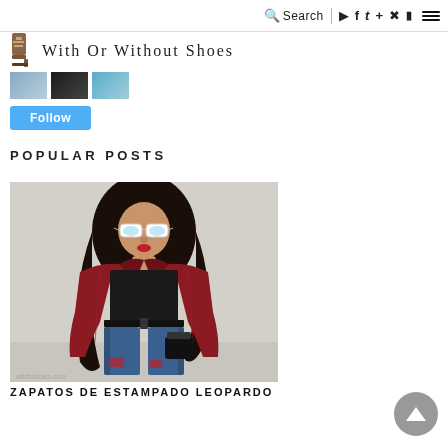Search | social icons (Instagram, Facebook, Twitter, Google+, Pinterest, RSS) | hamburger menu
[Figure (logo): With Or Without Shoes blog logo with high-heel shoe image and site name]
[Figure (photo): Three small thumbnail photos from Instagram feed]
Follow
POPULAR POSTS
[Figure (photo): Fashion photo of a woman with long dark hair wearing white cat-eye sunglasses, a dark red/burgundy leather jacket, black top, blue patched jeans, and a black bag, standing against a light wall. Watermark: witchshoes.com]
ZAPATOS DE ESTAMPADO LEOPARDO